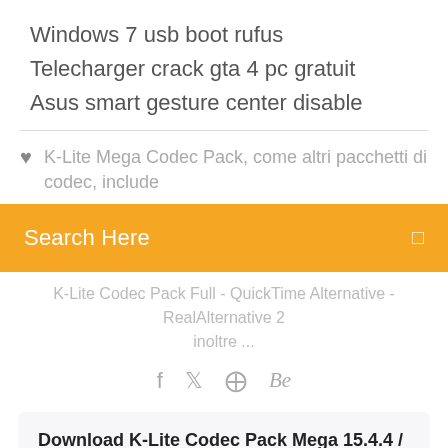Windows 7 usb boot rufus
Telecharger crack gta 4 pc gratuit
Asus smart gesture center disable
K-Lite Mega Codec Pack, come altri pacchetti di codec, include
Search Here
K-Lite Codec Pack Full - QuickTime Alternative - RealAlternative 2 inoltre ...
f  ✈  ⊕  Be
Download K-Lite Codec Pack Mega 15.4.4 / 15.4.8 ...
Pour en savoir plus sur K-Lite Codec Pack Full et découvrir toutes les fonctionnalités de ce logiciel,